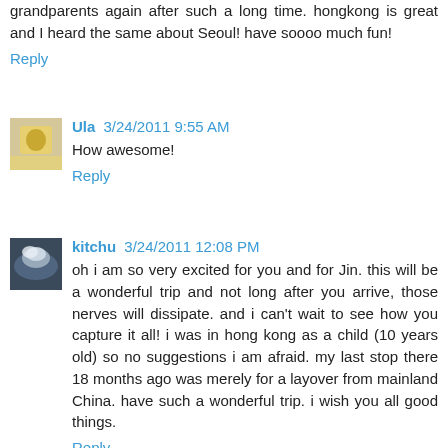grandparents again after such a long time. hongkong is great and I heard the same about Seoul! have soooo much fun!
Reply
[Figure (photo): Avatar thumbnail of user Ula, person in yellow jacket]
Ula 3/24/2011 9:55 AM
How awesome!
Reply
[Figure (photo): Avatar thumbnail of user kitchu, cloudy sky image]
kitchu 3/24/2011 12:08 PM
oh i am so very excited for you and for Jin. this will be a wonderful trip and not long after you arrive, those nerves will dissipate. and i can't wait to see how you capture it all! i was in hong kong as a child (10 years old) so no suggestions i am afraid. my last stop there 18 months ago was merely for a layover from mainland China. have such a wonderful trip. i wish you all good things.
Reply